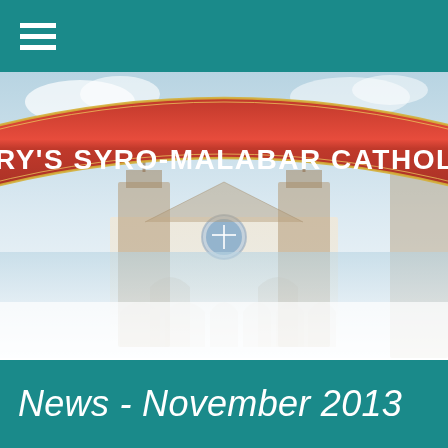[Figure (photo): Church building photo with a large red curved banner reading 'RY'S SYRO-MALABAR CATHOLIC CHURCH' (partially visible), showing a white church with towers against a light blue sky. The image includes a circular emblem/seal on the church facade.]
News - November 2013